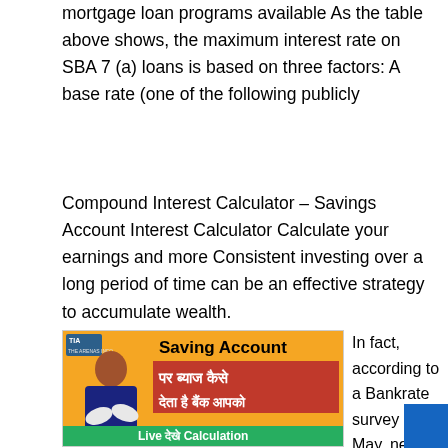mortgage loan programs available As the table above shows, the maximum interest rate on SBA 7 (a) loans is based on three factors: A base rate (one of the following publicly
Compound Interest Calculator – Savings Account Interest Calculator Calculate your earnings and more Consistent investing over a long period of time can be an effective strategy to accumulate wealth.
[Figure (photo): Thumbnail image of a video about Saving Account interest calculation, featuring a man in a blue vest gesturing, with Hindi text 'पर ब्याज कैसे देता है बैंक आपको' on a red background, 'Saving Account' on orange at top, and 'Live देखे Calculation' on green at bottom.]
In fact, according to a Bankrate survey in May, nearly a quarter of people were earning any